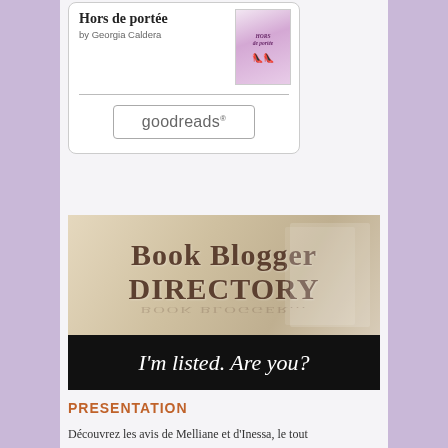[Figure (other): Goodreads widget card showing book 'Hors de portée' by Georgia Caldera with a book cover image and a Goodreads button]
[Figure (other): Book Blogger Directory banner image with text 'Book Blogger DIRECTORY' on a beige/tan background with book images, and black bar at bottom reading "I'm listed. Are you?"]
PRESENTATION
Découvrez les avis de Melliane et d'Inessa, le tout